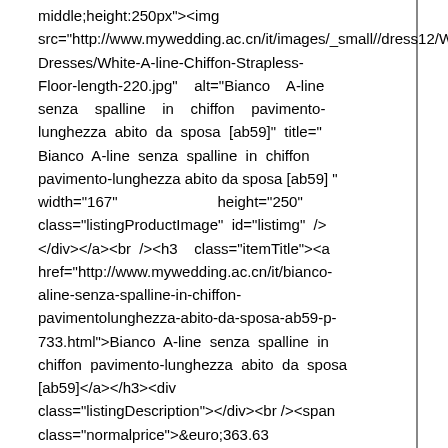middle;height:250px"><img src="http://www.mywedding.ac.cn/it/images/_small//dress12/W Dresses/White-A-line-Chiffon-Strapless-Floor-length-220.jpg" alt="Bianco A-line senza spalline in chiffon pavimento-lunghezza abito da sposa [ab59]" title=" Bianco A-line senza spalline in chiffon pavimento-lunghezza abito da sposa [ab59] " width="167" height="250" class="listingProductImage" id="listimg" /></div></a><br /><h3 class="itemTitle"><a href="http://www.mywedding.ac.cn/it/bianco-aline-senza-spalline-in-chiffon-pavimentolunghezza-abito-da-sposa-ab59-p-733.html">Bianco A-line senza spalline in chiffon pavimento-lunghezza abito da sposa [ab59]</a></h3><div class="listingDescription"></div><br /><span class="normalprice">&euro;363.63 </span>&nbsp;<span class="productSpecialPrice">&euro;240.87</span> <span class="productPriceDiscount"><br />Risparmi:&nbsp;34% sconto</span><br /> <br /><br /><br /></div> <br class="clearBoth" /><div class="centerBoxContentsProducts centeredContent back" style="width:32.5%;"><a href="http://www.mywedding.ac.cn/it/bianco-aline-senza-spalline-in-chiffon-